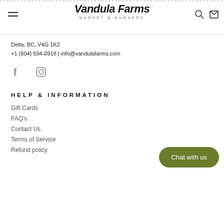Vandula Farms Market & Nursery
Delta, BC, V4G 1K2
+1 (604) 594-0918 | info@vandulafarms.com
[Figure (logo): Facebook and Instagram social media icons]
HELP & INFORMATION
Gift Cards
FAQ's
Contact Us
Terms of Service
Refund policy
Chat with us